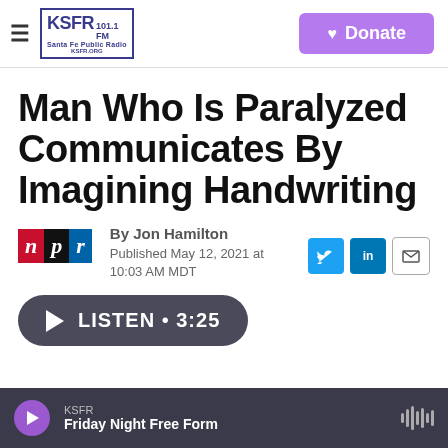KSFR 101.1 FM Santa Fe Public Radio | Donate
Man Who Is Paralyzed Communicates By Imagining Handwriting
[Figure (logo): NPR logo with red N, black P, blue R]
By Jon Hamilton
Published May 12, 2021 at 10:03 AM MDT
LISTEN • 3:25
KSFR
Friday Night Free Form